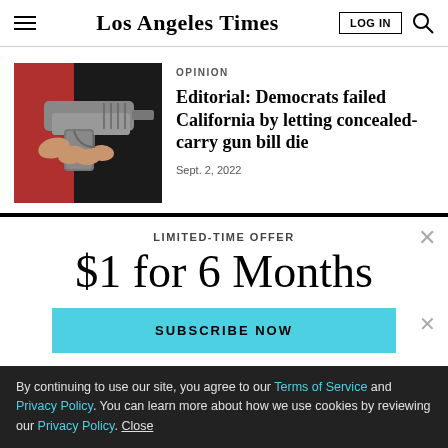Los Angeles Times
OPINION
Editorial: Democrats failed California by letting concealed-carry gun bill die
Sept. 2, 2022
[Figure (photo): Close-up photo of a hand holding a semi-automatic pistol against a dark background]
LIMITED-TIME OFFER
$1 for 6 Months
SUBSCRIBE NOW
By continuing to use our site, you agree to our Terms of Service and Privacy Policy. You can learn more about how we use cookies by reviewing our Privacy Policy. Close